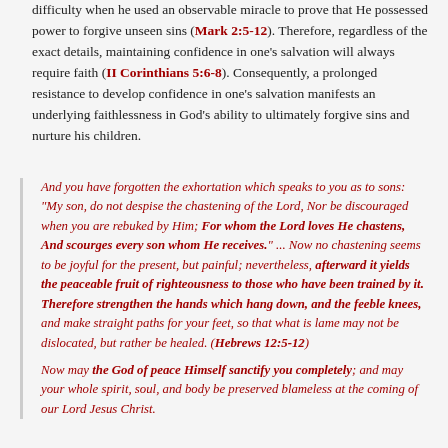difficulty when he used an observable miracle to prove that He possessed power to forgive unseen sins (Mark 2:5-12). Therefore, regardless of the exact details, maintaining confidence in one's salvation will always require faith (II Corinthians 5:6-8). Consequently, a prolonged resistance to develop confidence in one's salvation manifests an underlying faithlessness in God's ability to ultimately forgive sins and nurture his children.
And you have forgotten the exhortation which speaks to you as to sons: "My son, do not despise the chastening of the Lord, Nor be discouraged when you are rebuked by Him; For whom the Lord loves He chastens, And scourges every son whom He receives." ... Now no chastening seems to be joyful for the present, but painful; nevertheless, afterward it yields the peaceable fruit of righteousness to those who have been trained by it. Therefore strengthen the hands which hang down, and the feeble knees, and make straight paths for your feet, so that what is lame may not be dislocated, but rather be healed. (Hebrews 12:5-12)
Now may the God of peace Himself sanctify you completely; and may your whole spirit, soul, and body be preserved blameless at the coming of our Lord Jesus Christ.